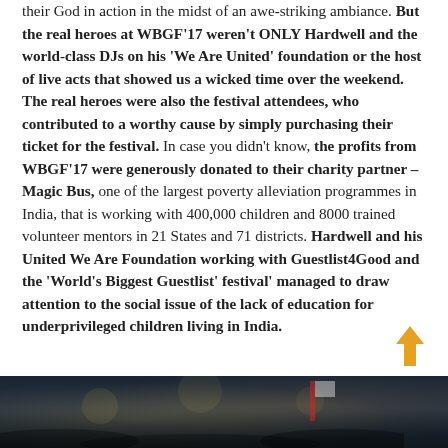their God in action in the midst of an awe-striking ambiance. But the real heroes at WBGF'17 weren't ONLY Hardwell and the world-class DJs on his 'We Are United' foundation or the host of live acts that showed us a wicked time over the weekend. The real heroes were also the festival attendees, who contributed to a worthy cause by simply purchasing their ticket for the festival. In case you didn't know, the profits from WBGF'17 were generously donated to their charity partner – Magic Bus, one of the largest poverty alleviation programmes in India, that is working with 400,000 children and 8000 trained volunteer mentors in 21 States and 71 districts. Hardwell and his United We Are Foundation working with Guestlist4Good and the 'World's Biggest Guestlist' festival' managed to draw attention to the social issue of the lack of education for underprivileged children living in India.
[Figure (photo): Crowd photo at the WBGF festival, showing a large audience with lights and what appears to be a flag visible]